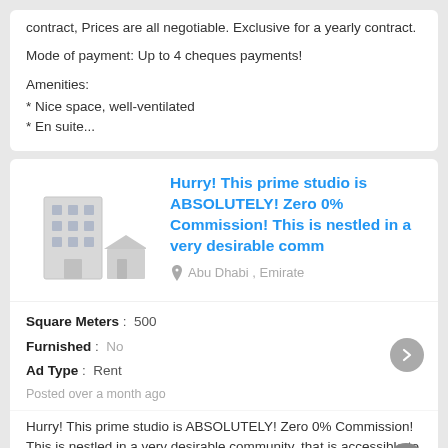contract, Prices are all negotiable. Exclusive for a yearly contract.

Mode of payment: Up to 4 cheques payments!

Amenities:
* Nice space, well-ventilated
* En suite...
Hurry! This prime studio is ABSOLUTELY! Zero 0% Commission! This is nestled in a very desirable comm
Abu Dhabi , Emirate
Square Meters : 500
Furnished : No
Ad Type : Rent
Posted over a month ago
Hurry! This prime studio is ABSOLUTELY! Zero 0% Commission! This is nestled in a very desirable community, that is accessible to all nearby places. Suitable for family